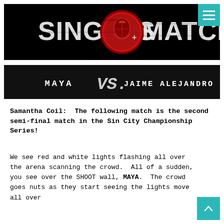[Figure (logo): Singles Match logo on black background with red circular emblem in center]
[Figure (infographic): Match banner: MAYA VS. JAIME ALEJANDRO on black background]
Samantha Coil:  The following match is the second semi-final match in the Sin City Championship Series!
We see red and white lights flashing all over the arena scanning the crowd.  All of a sudden, you see over the SHOOT wall, MAYA.  The crowd goes nuts as they start seeing the lights move all over